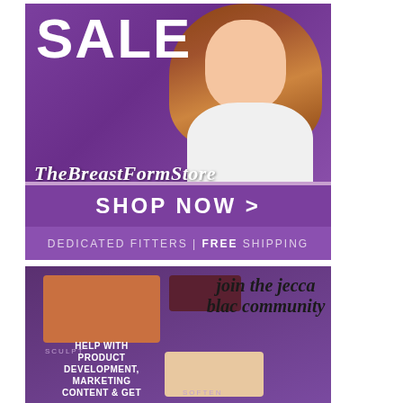[Figure (illustration): Advertisement for The Breast Form Store showing 'SALE' text in large white letters on purple background with a model wearing white clothing, brand logo in italic script, 'SHOP NOW >' button bar, and 'DEDICATED FITTERS | FREE SHIPPING' banner below]
[Figure (photo): Advertisement for Jecca Blac showing a makeup palette with sculpt (terracotta), dark, and soften (light beige) shades on purple background, with text 'join the jecca blac community' and 'HELP WITH PRODUCT DEVELOPMENT, MARKETING CONTENT & GET']